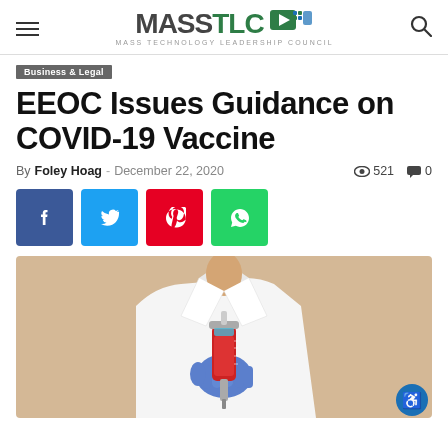MASS TLC — MASS TECHNOLOGY LEADERSHIP COUNCIL
Business & Legal
EEOC Issues Guidance on COVID-19 Vaccine
By Foley Hoag - December 22, 2020 | 521 views | 0 comments
[Figure (photo): Healthcare professional in white lab coat wearing blue gloves holding a red syringe/vaccine injection against a beige background]